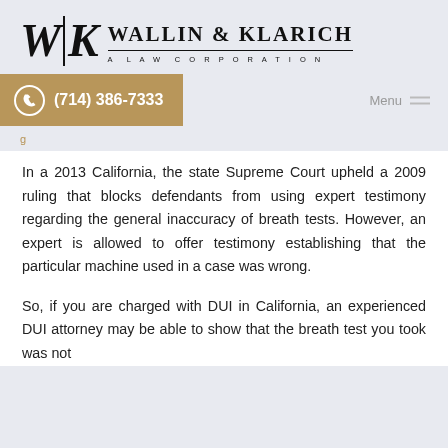[Figure (logo): Wallin & Klarich A Law Corporation logo with WK monogram]
(714) 386-7333
In a 2013 California, the state Supreme Court upheld a 2009 ruling that blocks defendants from using expert testimony regarding the general inaccuracy of breath tests. However, an expert is allowed to offer testimony establishing that the particular machine used in a case was wrong.
So, if you are charged with DUI in California, an experienced DUI attorney may be able to show that the breath test you took was not